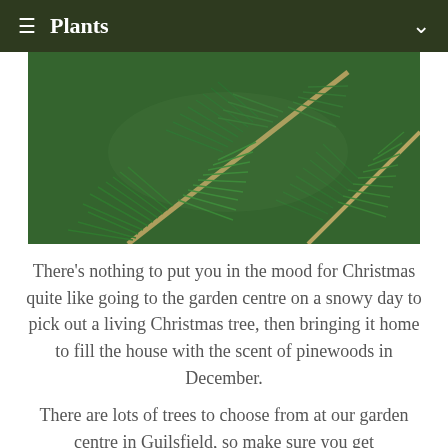≡ Plants
[Figure (photo): Close-up photograph of green pine/fir tree branches with short needles, showing Christmas tree foliage in detail.]
There's nothing to put you in the mood for Christmas quite like going to the garden centre on a snowy day to pick out a living Christmas tree, then bringing it home to fill the house with the scent of pinewoods in December.
There are lots of trees to choose from at our garden centre in Guilsfield, so make sure you get